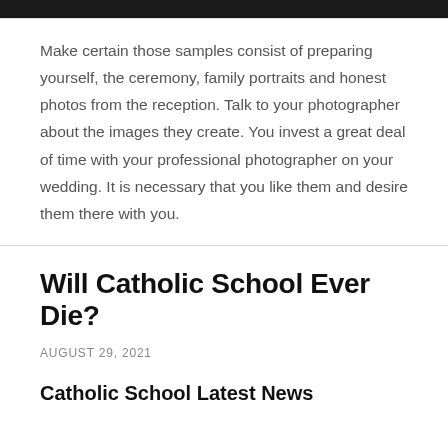[Figure (photo): Dark image strip at top of page, cropped photograph]
Make certain those samples consist of preparing yourself, the ceremony, family portraits and honest photos from the reception. Talk to your photographer about the images they create. You invest a great deal of time with your professional photographer on your wedding. It is necessary that you like them and desire them there with you.
Will Catholic School Ever Die?
AUGUST 29, 2021
Catholic School Latest News